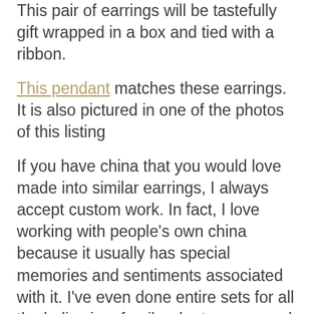This pair of earrings will be tastefully gift wrapped in a box and tied with a ribbon.
This pendant matches these earrings. It is also pictured in one of the photos of this listing
If you have china that you would love made into similar earrings, I always accept custom work. In fact, I love working with people's own china because it usually has special memories and sentiments associated with it. I've even done entire sets for all the ladies in a family who treasure and love wearing Grandma's china. Just email me if you are interested in this. The pricing is the same as this